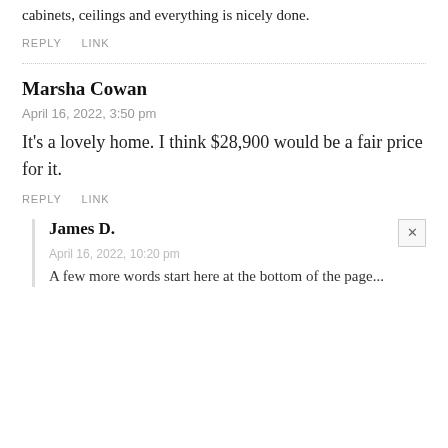cabinets, ceilings and everything is nicely done.
REPLY    LINK
Marsha Cowan
April 16, 2022, 3:50 pm
It’s a lovely home. I think $28,900 would be a fair price for it.
REPLY    LINK
James D.
April 16, 2022, 10:20 pm
A few more words start here at the bottom of the page...